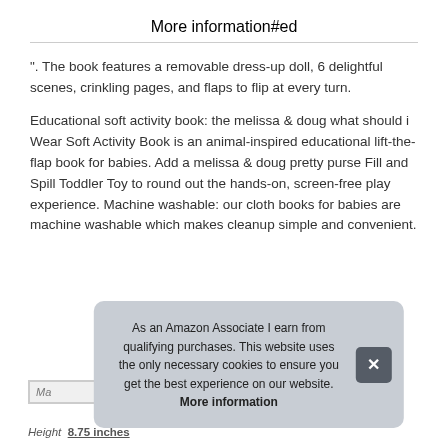More information #ed
". The book features a removable dress-up doll, 6 delightful scenes, crinkling pages, and flaps to flip at every turn.
Educational soft activity book: the melissa & doug what should i Wear Soft Activity Book is an animal-inspired educational lift-the-flap book for babies. Add a melissa & doug pretty purse Fill and Spill Toddler Toy to round out the hands-on, screen-free play experience. Machine washable: our cloth books for babies are machine washable which makes cleanup simple and convenient.
| Ma |  |
| Height | 8.75 inches |
As an Amazon Associate I earn from qualifying purchases. This website uses the only necessary cookies to ensure you get the best experience on our website. More information